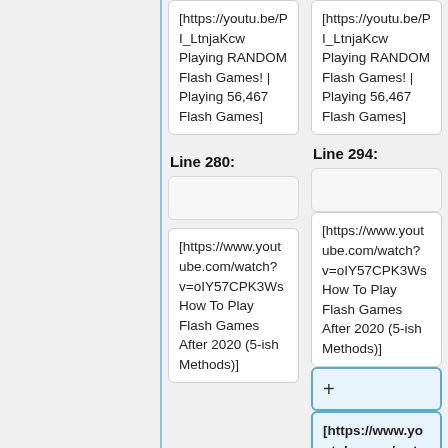[https://youtu.be/PI_LtnjaKcw Playing RANDOM Flash Games! | Playing 56,467 Flash Games]
Line 280:
[https://www.youtube.com/watch?v=oIY57CPK3Ws How To Play Flash Games After 2020 (5-ish Methods)]
[https://youtu.be/PI_LtnjaKcw Playing RANDOM Flash Games! | Playing 56,467 Flash Games]
Line 294:
[https://www.youtube.com/watch?v=oIY57CPK3Ws How To Play Flash Games After 2020 (5-ish Methods)]
+
[https://www.youtube.com/watc…